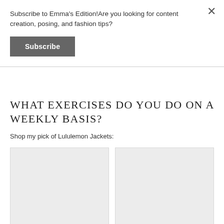Subscribe to Emma's Edition!Are you looking for content creation, posing, and fashion tips?
Subscribe
WHAT EXERCISES DO YOU DO ON A WEEKLY BASIS?
Shop my pick of Lululemon Jackets:
[Figure (photo): Two product image placeholder boxes for Lululemon Jackets]